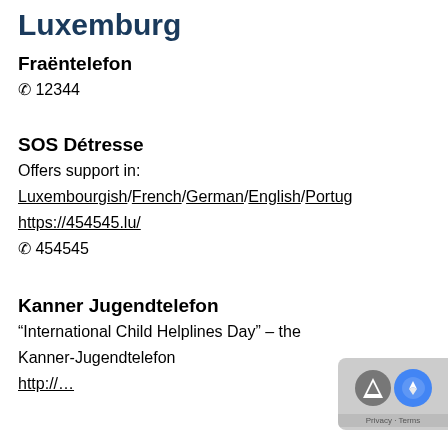Luxemburg
Fraëntelefon
✆ 12344
SOS Détresse
Offers support in:
Luxembourgish/French/German/English/Portug…
https://454545.lu/
✆ 454545
Kanner Jugendtelefon
"International Child Helplines Day" – the
Kanner-Jugendtelefon